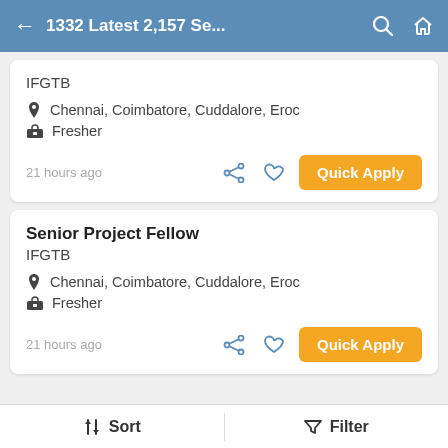1332 Latest 2,157 Se...
IFGTB
Chennai, Coimbatore, Cuddalore, Eroc
Fresher
21 hours ago
Quick Apply
Senior Project Fellow
IFGTB
Chennai, Coimbatore, Cuddalore, Eroc
Fresher
21 hours ago
Quick Apply
Sort   Filter